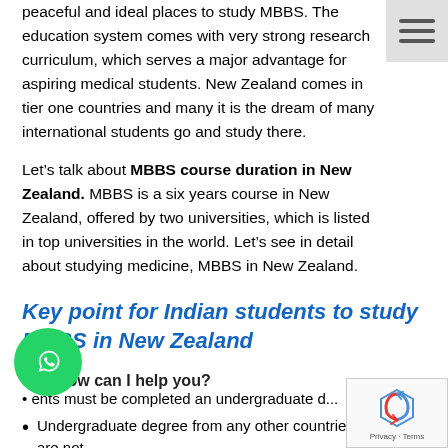peaceful and ideal places to study MBBS. The education system comes with very strong research curriculum, which serves a major advantage for aspiring medical students. New Zealand comes in tier one countries and many it is the dream of many international students go and study there.

Let's talk about MBBS course duration in New Zealand. MBBS is a six years course in New Zealand, offered by two universities, which is listed in top universities in the world. Let's see in detail about studying medicine, MBBS in New Zealand.
Key point for Indian students to study MBBS in New Zealand
ents must be completed an undergraduate degree in biology or science in New Zealand only
Undergraduate degree from any other countries are not